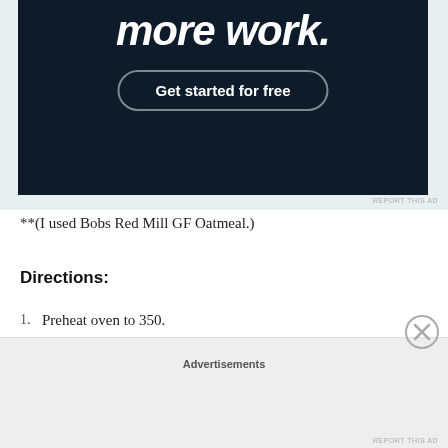[Figure (screenshot): Dark advertisement banner with 'more work.' text and 'Get started for free' button]
**(I used Bobs Red Mill GF Oatmeal.)
Directions:
Preheat oven to 350.
Put the oats, baking powder, cinnamon and salt in a food processor pulse a few times.
Set the dry ingredients aside.
Mash the bananas in a bowl with a fork.
Advertisements